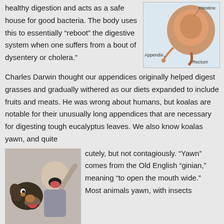healthy digestion and acts as a safe house for good bacteria. The body uses this to essentially “reboot” the digestive system when one suffers from a bout of dysentery or cholera.”
[Figure (illustration): Diagram of the human digestive system showing the intestine, appendix, and rectum labeled with arrows.]
Charles Darwin thought our appendices originally helped digest grasses and gradually withered as our diets expanded to include fruits and meats. He was wrong about humans, but koalas are notable for their unusually long appendices that are necessary for digesting tough eucalyptus leaves. We also know koalas yawn, and quite
[Figure (photo): Photo of a dog and a man both yawning widely next to each other.]
cutely, but not contagiously. “Yawn” comes from the Old English “ginian,” meaning “to open the mouth wide.” Most animals yawn, with insects